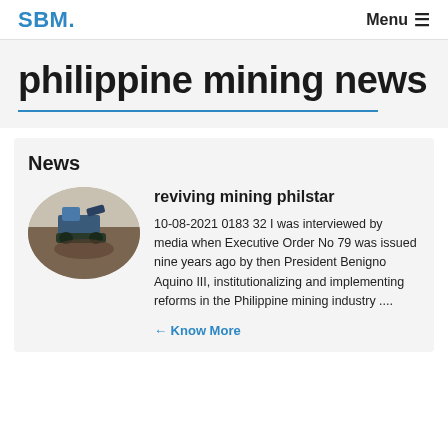SBM.
philippine mining news
News
[Figure (photo): Oval/ellipse cropped photo of a mining machine (excavator or bulldozer) working in muddy terrain]
reviving mining philstar
10-08-2021 0183 32 I was interviewed by media when Executive Order No 79 was issued nine years ago by then President Benigno Aquino III, institutionalizing and implementing reforms in the Philippine mining industry ....
Know More